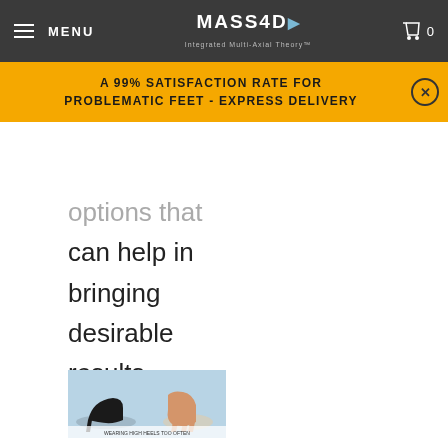MENU | MASS4D Integrated Multi-Axial Theory | 0
A 99% SATISFACTION RATE FOR PROBLEMATIC FEET - EXPRESS DELIVERY
options that can help in bringing desirable results.
[Figure (photo): Image showing a high heel shoe next to a foot, with text about wearing high heels too often]
Wearing high heels too often can cause foot